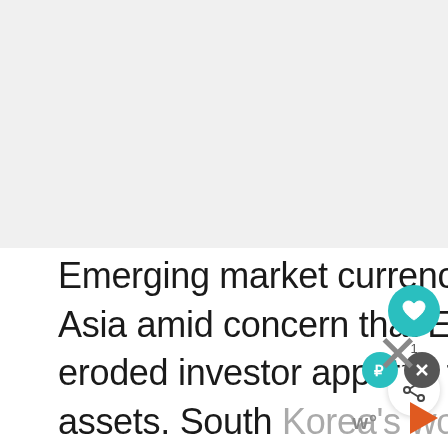[Figure (other): Advertisement / blank image area at top of page]
Emerging market currencies also weakened today in Asia amid concern that Europe's fiscal woes have eroded investor appetite for riskier developing-nation assets. South Korea's won dropped the most in two months while India's rupee was headed for its